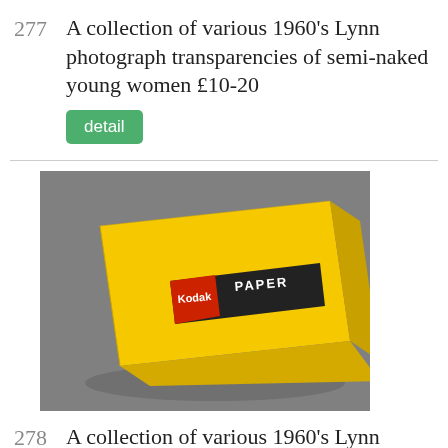277   A collection of various 1960's Lynn photograph transparencies of semi-naked young women £10-20
detail
[Figure (photo): A yellow Kodak photographic paper box on a grey background]
278   A collection of various 1960's Lynn photograph